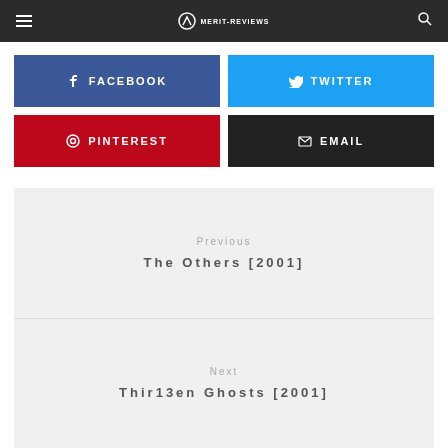MERIT-REVIEWS
FACEBOOK
TWITTER
PINTEREST
EMAIL
Previous
The Others [2001]
Next
Thir13en Ghosts [2001]